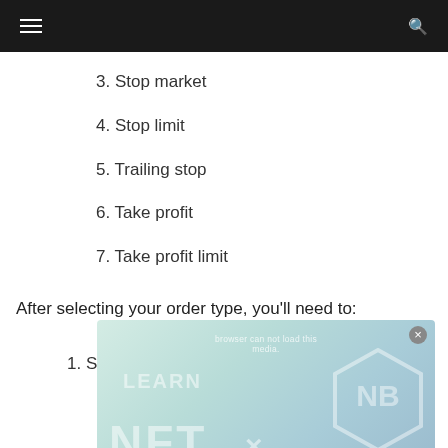Navigation header with hamburger menu and search icon
3. Stop market
4. Stop limit
5. Trailing stop
6. Take profit
7. Take profit limit
After selecting your order type, you’ll need to:
1. Select the amount of USD you want to ...
[Figure (illustration): Advertisement overlay for NFT content: LEARN NFT x [hexagon logo] MAKE MONEY with close button, gradient teal/blue background]